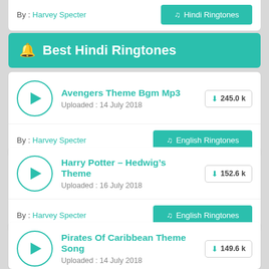By : Harvey Specter
Hindi Ringtones
Best Hindi Ringtones
Avengers Theme Bgm Mp3
Uploaded : 14 July 2018
245.0 k
By : Harvey Specter
English Ringtones
Harry Potter – Hedwig's Theme
Uploaded : 16 July 2018
152.6 k
By : Harvey Specter
English Ringtones
Pirates Of Caribbean Theme Song
Uploaded : 14 July 2018
149.6 k